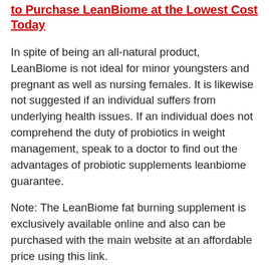to Purchase LeanBiome at the Lowest Cost Today
In spite of being an all-natural product, LeanBiome is not ideal for minor youngsters and pregnant as well as nursing females. It is likewise not suggested if an individual suffers from underlying health issues. If an individual does not comprehend the duty of probiotics in weight management, speak to a doctor to find out the advantages of probiotic supplements leanbiome guarantee.
Note: The LeanBiome fat burning supplement is exclusively available online and also can be purchased with the main website at an affordable price using this link.